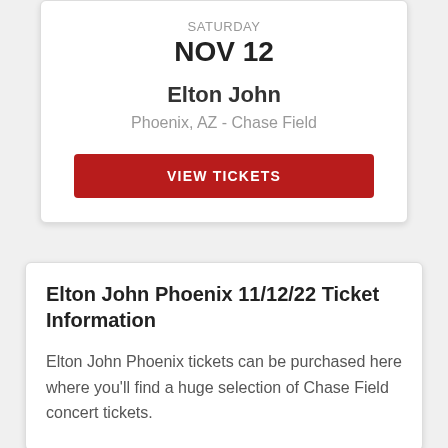SATURDAY
NOV 12
Elton John
Phoenix, AZ - Chase Field
VIEW TICKETS
Elton John Phoenix 11/12/22 Ticket Information
Elton John Phoenix tickets can be purchased here where you'll find a huge selection of Chase Field concert tickets.